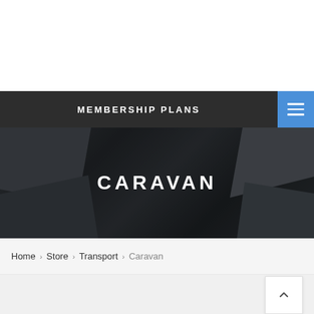MEMBERSHIP PLANS
CARAVAN
Home > Store > Transport > Caravan
We can't find products matching the selection.